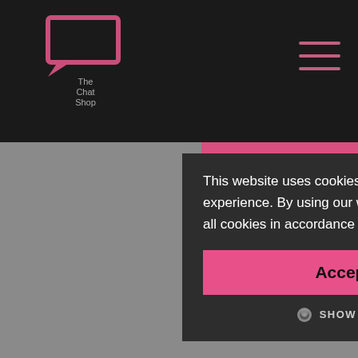[Figure (logo): The Chat Shop logo: pink outlined speech bubble rectangle with 'The Chat Shop' text below]
[Figure (other): Hamburger menu icon with three pink horizontal lines]
[Figure (screenshot): Cookie consent modal overlay on The Chat Shop website. Modal contains cookie notice text, Accept all button, and Show Details option. Background shows partial article text about technology and customer experience.]
This website uses cookies to improve user experience. By using our website you consent to all cookies in accordance with our Cookie Policy.
Accept all
SHOW DETAILS
Technologically [smart phones and other di...] ...ers now interact with [...] ...er before, through an [...] ...ng functionalit[...] ...uld be providing a consistent customer experience across multiple channels, you should also be using these touch points to build a brand experience for the customer.